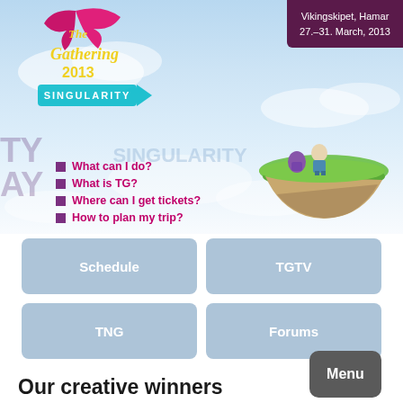[Figure (illustration): The Gathering 2013 Singularity event hero banner with logo, floating island with two characters sitting on it, and sky background]
Vikingskipet, Hamar
27.–31. March, 2013
What can I do?
What is TG?
Where can I get tickets?
How to plan my trip?
Schedule
TGTV
TNG
Forums
Menu
Our creative winners